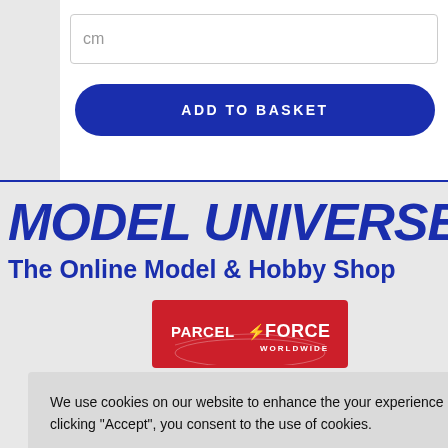cm
ADD TO BASKET
MODEL UNIVERSE
The Online Model & Hobby Shop
[Figure (logo): Parcelforce Worldwide red logo badge]
We use cookies on our website to enhance the your experience and the performance of the website. By clicking “Accept”, you consent to the use of cookies.
Cookie settings
ACCEPT
[Figure (logo): Maestro payment card logo - dark background with blue and red circles]
[Figure (logo): Klarna payment logo on pink background]